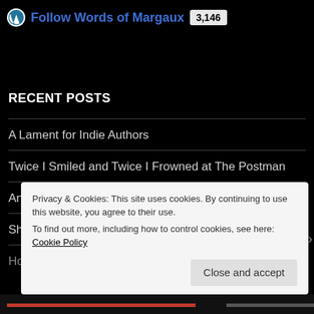[Figure (logo): WordPress follow button with icon, blue link text 'Follow Words of Margaux' and follower count badge '3,146']
RECENT POSTS
A Lament for Indie Authors
Twice I Smiled and Twice I Frowned at The Postman
Announcing the Keen Reader's Bookclub!
Should You Read American Gods by Neil Gaiman?
How Long Should It Take You to Write a Story
Privacy & Cookies: This site uses cookies. By continuing to use this website, you agree to their use.
To find out more, including how to control cookies, see here: Cookie Policy
Close and accept